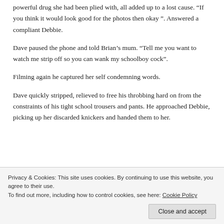powerful drug she had been plied with, all added up to a lost cause. “If you think it would look good for the photos then okay ”. Answered a compliant Debbie.
Dave paused the phone and told Brian’s mum. “Tell me you want to watch me strip off so you can wank my schoolboy cock”.
Filming again he captured her self condemning words.
Dave quickly stripped, relieved to free his throbbing hard on from the constraints of his tight school trousers and pants. He approached Debbie, picking up her discarded knickers and handed them to her.
Privacy & Cookies: This site uses cookies. By continuing to use this website, you agree to their use.
To find out more, including how to control cookies, see here: Cookie Policy
Close and accept